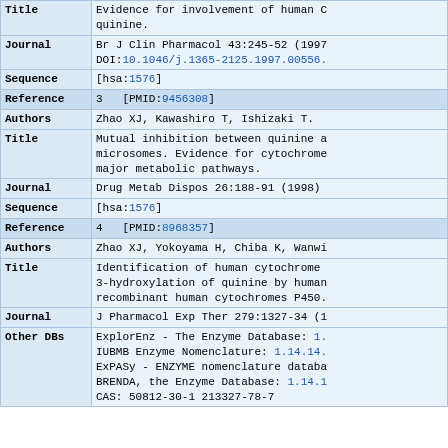| Field | Value |
| --- | --- |
| Title | Evidence for involvement of human C... quinine. |
| Journal | Br J Clin Pharmacol 43:245-52 (1997) DOI:10.1046/j.1365-2125.1997.00556... |
| Sequence | [hsa:1576] |
| Reference | 3  [PMID:9456308] |
| Authors | Zhao XJ, Kawashiro T, Ishizaki T. |
| Title | Mutual inhibition between quinine a... microsomes. Evidence for cytochrome... major metabolic pathways. |
| Journal | Drug Metab Dispos 26:188-91 (1998) |
| Sequence | [hsa:1576] |
| Reference | 4  [PMID:8968357] |
| Authors | Zhao XJ, Yokoyama H, Chiba K, Wanwi... |
| Title | Identification of human cytochrome... 3-hydroxylation of quinine by human... recombinant human cytochromes P450. |
| Journal | J Pharmacol Exp Ther 279:1327-34 (1... |
| Other DBs | ExplorEnz - The Enzyme Database: 1... IUBMB Enzyme Nomenclature: 1.14.14... ExPASy - ENZYME nomenclature databa... BRENDA, the Enzyme Database: 1.14.1... CAS: 50812-30-1 213327-78-7 |